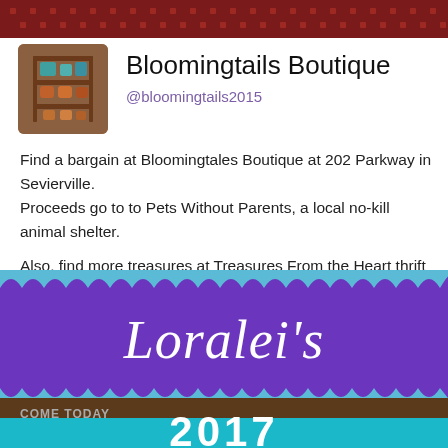[Figure (illustration): Dark red/maroon decorative banner with repeating dot/tile pattern at top of page]
[Figure (photo): Profile photo of shelving unit with colorful items, pet boutique store display]
Bloomingtails Boutique
@bloomingtails2015
Find a bargain at Bloomingtales Boutique at 202 Parkway in Sevierville.
Proceeds go to to Pets Without Parents, a local no-kill animal shelter.
Also, find more treasures at Treasures From the Heart thrift store at 230 Court Avenue, Sevierville.
[Figure (photo): Purple scallop-edged banner sign reading Loralei's in white italic serif font, below which is a photo strip showing wooden shelving and a teal bar with partial year 2017]